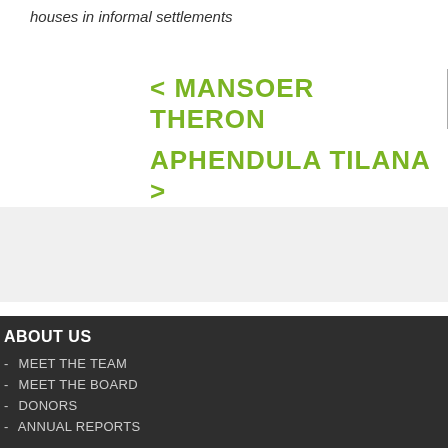houses in informal settlements
< MANSOER THERON
APHENDULA TILANA >
ABOUT US
- MEET THE TEAM
- MEET THE BOARD
- DONORS
- ANNUAL REPORTS